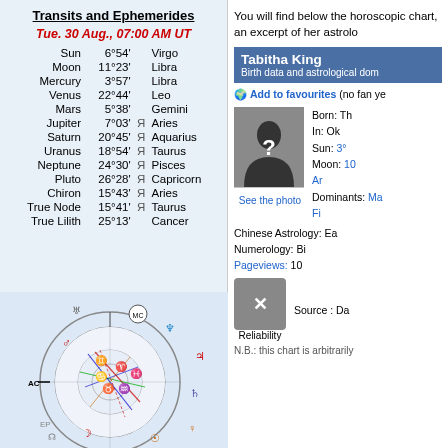Transits and Ephemerides
Tue. 30 Aug., 07:00 AM UT
| Planet | Degree | Retro | Sign |
| --- | --- | --- | --- |
| Sun | 6°54' |  | Virgo |
| Moon | 11°23' |  | Libra |
| Mercury | 3°57' |  | Libra |
| Venus | 22°44' |  | Leo |
| Mars | 5°38' |  | Gemini |
| Jupiter | 7°03' | Я | Aries |
| Saturn | 20°45' | Я | Aquarius |
| Uranus | 18°54' | Я | Taurus |
| Neptune | 24°30' | Я | Pisces |
| Pluto | 26°28' | Я | Capricorn |
| Chiron | 15°43' | Я | Aries |
| True Node | 15°41' | Я | Taurus |
| True Lilith | 25°13' |  | Cancer |
[Figure (other): Astrological natal chart wheel with planets and aspects]
You will find below the horoscope chart, an excerpt of her astro...
Tabitha King
Birth data and astrological dom...
Add to favourites (no fan ye...
[Figure (photo): Silhouette question mark photo placeholder with See the photo link]
Born: Th...
In: Ok...
Sun: 3°...
Moon: 10...
Ar...
Dominants: Ma...
Fi...
Chinese Astrology: Ea...
Numerology: Bi...
Pageviews: 10...
Source : Da...
N.B.: this chart is arbitrarily...